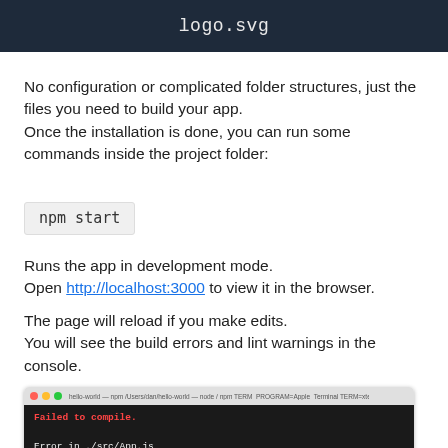logo.svg
No configuration or complicated folder structures, just the files you need to build your app.
Once the installation is done, you can run some commands inside the project folder:
npm start
Runs the app in development mode.
Open http://localhost:3000 to view it in the browser.
The page will reload if you make edits.
You will see the build errors and lint warnings in the console.
[Figure (screenshot): Terminal window showing a compilation error: 'Failed to compile. Error in ./src/App.js Syntax error: /Users/dan/hello-world/src/App.js: Unexpected token (8:7)']